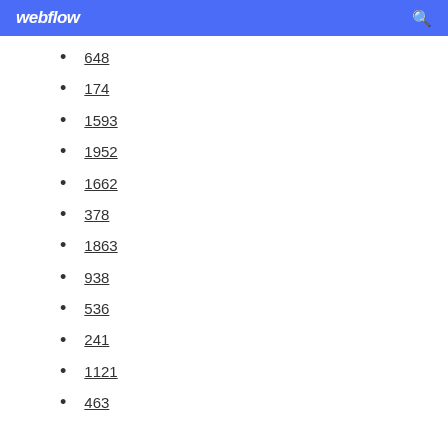webflow
648
174
1593
1952
1662
378
1863
938
536
241
1121
463